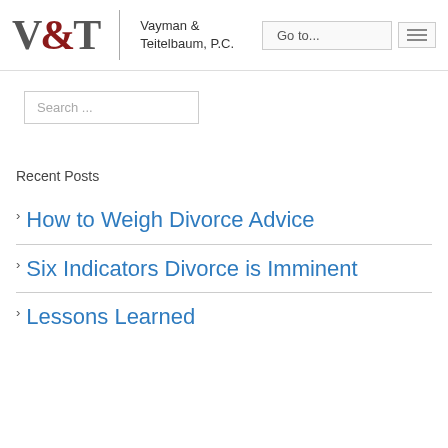V&T Vayman & Teitelbaum, P.C. | Go to...
Search ...
Recent Posts
How to Weigh Divorce Advice
Six Indicators Divorce is Imminent
Lessons Learned